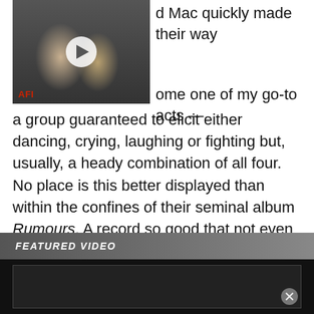[Figure (screenshot): Video thumbnail showing people in what appears to be a film scene, with an AFI logo in the bottom left and a play button overlay]
d Mac quickly made their way ome one of my go-to acts — a group guaranteed to elicit either dancing, crying, laughing or fighting but, usually, a heady combination of all four. No place is this better displayed than within the confines of their seminal album Rumours. A record so good that not even the cataclysmic relationships of the band could bring it down. One of the album's finest moments, among many, is the simply supreme song 'The Chain'.
FEATURED VIDEO
[Figure (screenshot): Bottom portion of a featured video player, dark background]